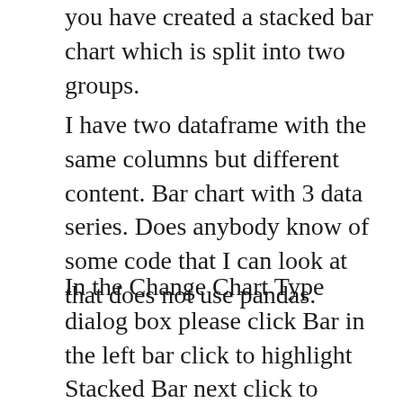you have created a stacked bar chart which is split into two groups.
I have two dataframe with the same columns but different content. Bar chart with 3 data series. Does anybody know of some code that I can look at that does not use pandas.
In the Change Chart Type dialog box please click Bar in the left bar click to highlight Stacked Bar next click to select the chart with two series and finally click the OK button. Months count. Heres how to get a stacked and clustered column bar chart done in excel tested on Excel 2011 for Mac.